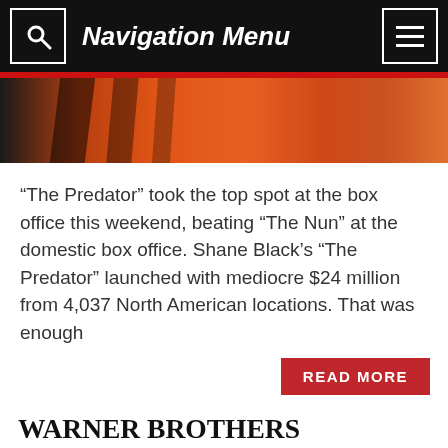Navigation Menu
[Figure (photo): Partial hero image showing an orange and dark background, appears to be a movie or entertainment venue setting]
“The Predator” took the top spot at the box office this weekend, beating “The Nun” at the domestic box office. Shane Black’s “The Predator” launched with mediocre $24 million from 4,037 North American locations. That was enough
READ MORE
WARNER BROTHERS RELEASES STATEMENT ON RUMORS THAT HENRY CAVILL IS EXITING HIS “SUPERMAN” ROLE